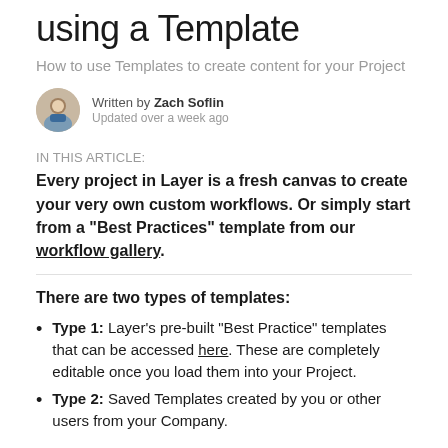using a Template
How to use Templates to create content for your Project
Written by Zach Soflin
Updated over a week ago
IN THIS ARTICLE:
Every project in Layer is a fresh canvas to create your very own custom workflows. Or simply start from a "Best Practices" template from our workflow gallery.
There are two types of templates:
Type 1: Layer's pre-built "Best Practice" templates that can be accessed here. These are completely editable once you load them into your Project.
Type 2: Saved Templates created by you or other users from your Company.